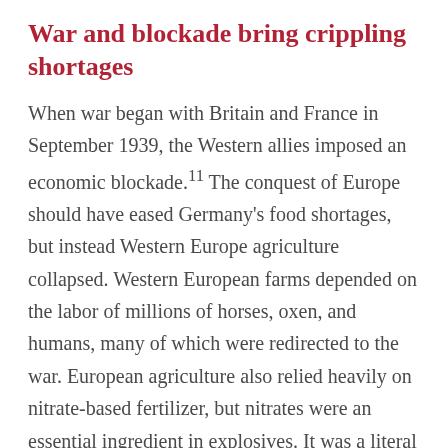War and blockade bring crippling shortages
When war began with Britain and France in September 1939, the Western allies imposed an economic blockade.¹¹ The conquest of Europe should have eased Germany's food shortages, but instead Western Europe agriculture collapsed. Western European farms depended on the labor of millions of horses, oxen, and humans, many of which were redirected to the war. European agriculture also relied heavily on nitrate-based fertilizer, but nitrates were an essential ingredient in explosives. It was a literal guns-butter trade-off. As a result, grain yields fell dramatically across Denmark, Holland, France, and Greece. The